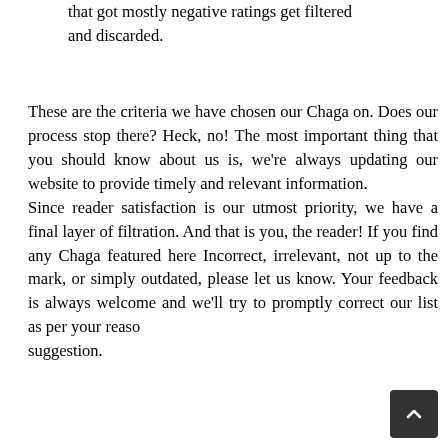that got mostly negative ratings get filtered and discarded.
These are the criteria we have chosen our Chaga on. Does our process stop there? Heck, no! The most important thing that you should know about us is, we're always updating our website to provide timely and relevant information.
Since reader satisfaction is our utmost priority, we have a final layer of filtration. And that is you, the reader! If you find any Chaga featured here Incorrect, irrelevant, not up to the mark, or simply outdated, please let us know. Your feedback is always welcome and we'll try to promptly correct our list as per your reasonable suggestion.